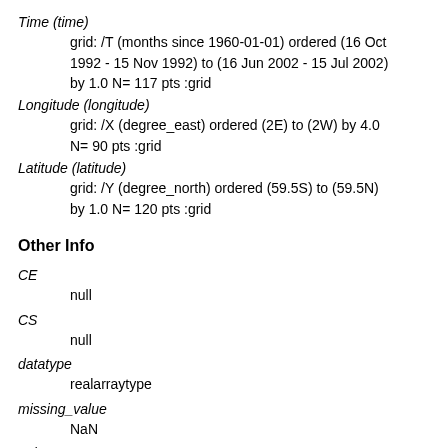Time (time)
    grid: /T (months since 1960-01-01) ordered (16 Oct 1992 - 15 Nov 1992) to (16 Jun 2002 - 15 Jul 2002) by 1.0 N= 117 pts :grid
Longitude (longitude)
    grid: /X (degree_east) ordered (2E) to (2W) by 4.0 N= 90 pts :grid
Latitude (latitude)
    grid: /Y (degree_north) ordered (59.5S) to (59.5N) by 1.0 N= 120 pts :grid
Other Info
CE
    null
CS
    null
datatype
    realarraytype
missing_value
    NaN
units
    3.04617419786709×10-06 meter radian2 east